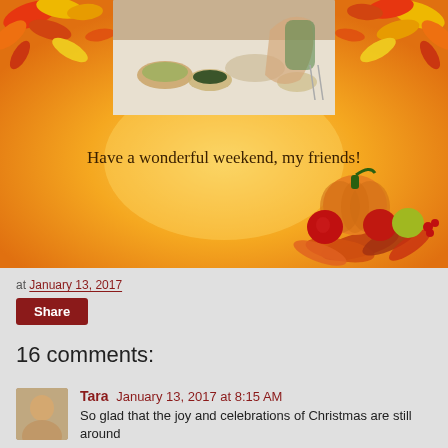[Figure (photo): Top section with orange/autumn background, fall leaves decorations in corners, a vintage dinner scene photo in the center top, and a cornucopia with pumpkin and fruits in the bottom right corner]
Have a wonderful weekend, my friends!
at January 13, 2017
Share
16 comments:
Tara January 13, 2017 at 8:15 AM
So glad that the joy and celebrations of Christmas are still around